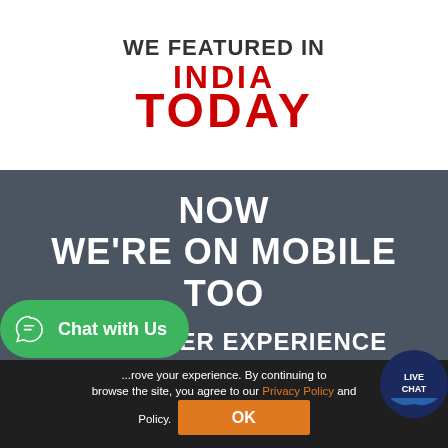WE FEATURED IN
[Figure (logo): India Today magazine logo in bold red text]
NOW WE'RE ON MOBILE TOO
10X FASTER EXPERIENCE
[Figure (illustration): Chat with Us WhatsApp button (green rounded button)]
...rove your experience. By continuing to browse the site, you agree to our Privacy Policy and... Policy.
[Figure (logo): Live Chat badge in bottom right corner]